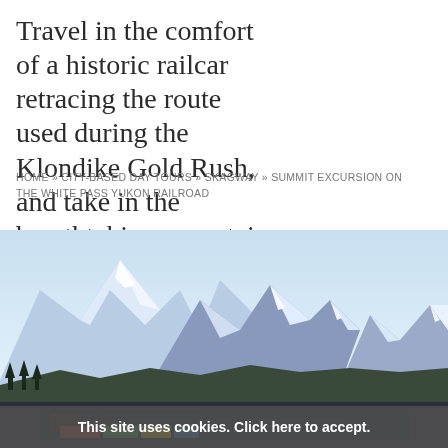Travel in the comfort of a historic railcar retracing the route used during the Klondike Gold Rush, and take in the breathtaking mountain panorama.
BACK TO MAIN TOUR
HOME » CITY-BASED DAY TOURS » SKAGWAY » SUMMIT EXCURSION ON THE WHITE PASS YUKON RAILROAD
[Figure (photo): Panoramic photograph of snow-capped mountains with dark rocky peaks, conifer trees in the foreground, and a lake/town visible at the bottom. Klondike/Skagway region mountain scenery.]
This site uses cookies. Click here to accept.